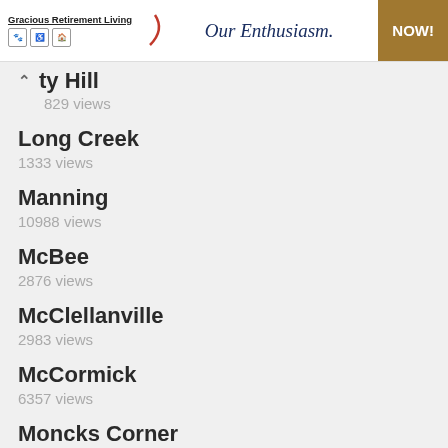[Figure (other): Advertisement banner for Gracious Retirement Living with icons, italic slogan 'Our Enthusiasm.' and a gold NOW! button]
ty Hill
829 views
Long Creek
1333 views
Manning
10988 views
McBee
2876 views
McClellanville
2983 views
McCormick
6357 views
Moncks Corner
21504 views
Mount Pleasant